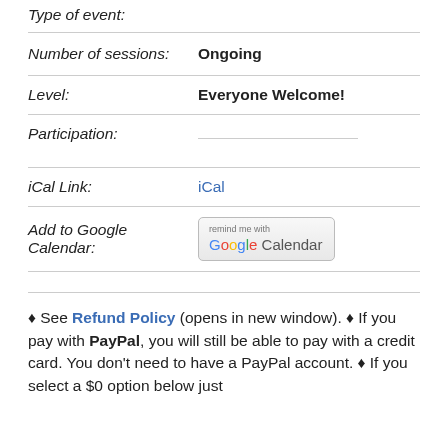Type of event:
Number of sessions: Ongoing
Level: Everyone Welcome!
Participation:
iCal Link: iCal
Add to Google Calendar:
[Figure (screenshot): Google Calendar 'remind me with Google Calendar' button]
♦ See Refund Policy (opens in new window). ♦ If you pay with PayPal, you will still be able to pay with a credit card. You don't need to have a PayPal account. ♦ If you select a $0 option below just